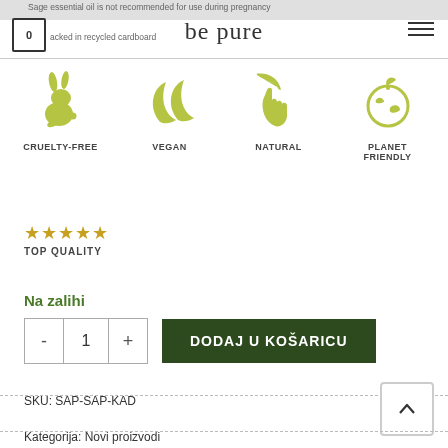be pure
Sage essential oil is not recommended for use during pregnancy
Packed in recycled cardboard
[Figure (illustration): Four green icons: cruelty-free (rabbit silhouette), vegan (two leaves), natural (hand with leaf), planet friendly (globe with leaf). Labels: CRUELTY-FREE, VEGAN, NATURAL, PLANET FRIENDLY]
[Figure (illustration): Five gold/yellow stars with text TOP QUALITY below]
Na zalihi
- 1 + DODAJ U KOŠARICU
SKU: SAP-SAP-KAD
Kategorija: Novi proizvodi